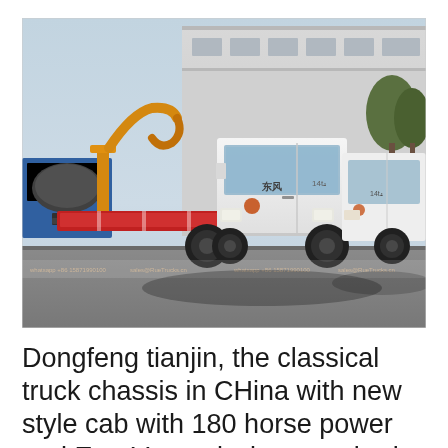[Figure (photo): Two white Dongfeng Tianjin hook-lift garbage trucks parked in front of an industrial building. The foreground truck has a yellow/orange hook arm mechanism and red frame components. Watermark text visible at bottom of image with contact info.]
Dongfeng tianjin, the classical truck chassis in CHina with new style cab with 180 horse power and EuroV ommission standard